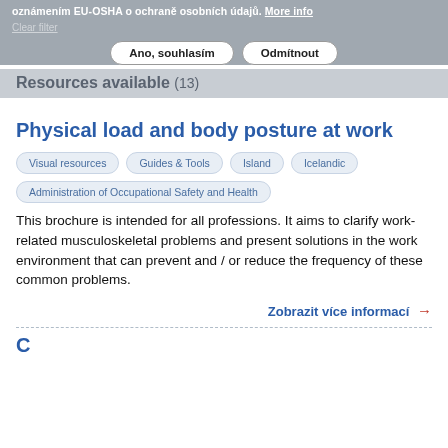oznámením EU-OSHA o ochraně osobních údajů. More info
Clear filter
Ano, souhlasím | Odmítnout
Resources available (13)
Physical load and body posture at work
Visual resources
Guides & Tools
Island
Icelandic
Administration of Occupational Safety and Health
This brochure is intended for all professions. It aims to clarify work-related musculoskeletal problems and present solutions in the work environment that can prevent and / or reduce the frequency of these common problems.
Zobrazit více informací →